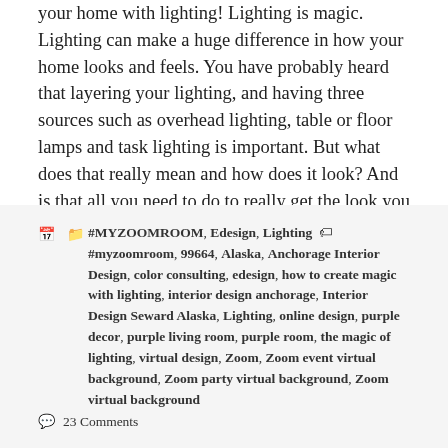your home with lighting! Lighting is magic. Lighting can make a huge difference in how your home looks and feels. You have probably heard that layering your lighting, and having three sources such as overhead lighting, table or floor lamps and task lighting is important. But what does that really mean and how does it look? And is that all you need to do to really get the look you are going for?  I find that lighting is a problem for many people
Read more […]→
#MYZOOMROOM, Edesign, Lighting  #myzoomroom, 99664, Alaska, Anchorage Interior Design, color consulting, edesign, how to create magic with lighting, interior design anchorage, Interior Design Seward Alaska, Lighting, online design, purple decor, purple living room, purple room, the magic of lighting, virtual design, Zoom, Zoom event virtual background, Zoom party virtual background, Zoom virtual background  23 Comments